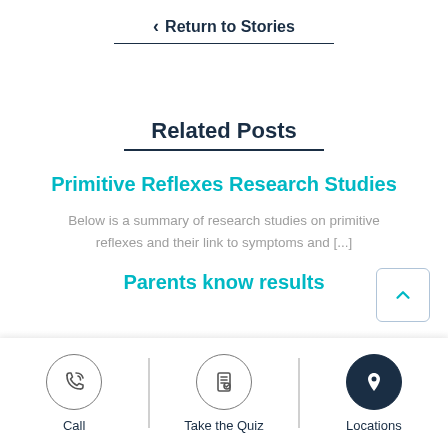← Return to Stories
Related Posts
Primitive Reflexes Research Studies
Below is a summary of research studies on primitive reflexes and their link to symptoms and [...]
Parents know results
Call
Take the Quiz
Locations